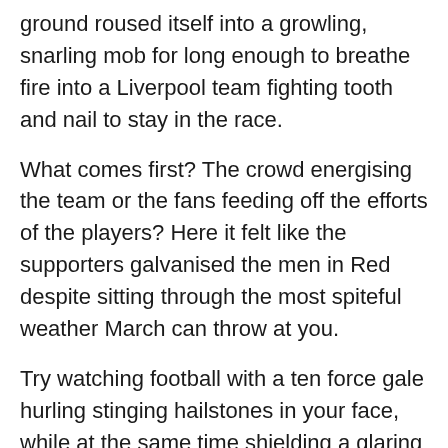ground roused itself into a growling, snarling mob for long enough to breathe fire into a Liverpool team fighting tooth and nail to stay in the race.
What comes first? The crowd energising the team or the fans feeding off the efforts of the players? Here it felt like the supporters galvanised the men in Red despite sitting through the most spiteful weather March can throw at you.
Try watching football with a ten force gale hurling stinging hailstones in your face, while at the same time shielding a glaring sun from your eyes. Hats off to the gnarly old patrons of the Kemlyn Road Stand who remain joyously contrary; the finger-wagging grouches who at their worst can turn turk on their own players but still